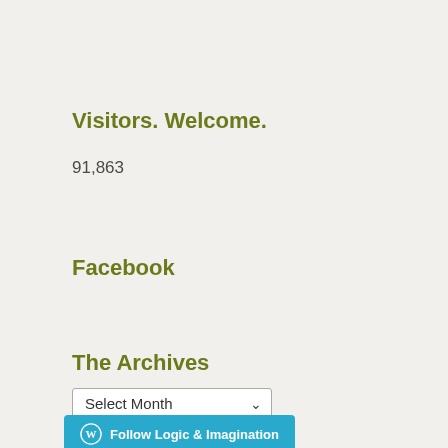Visitors. Welcome.
91,863
Facebook
The Archives
[Figure (other): A dropdown select menu labeled 'Select Month' with a downward chevron arrow]
[Figure (other): A teal/blue button with WordPress logo and text 'Follow Logic & Imagination']